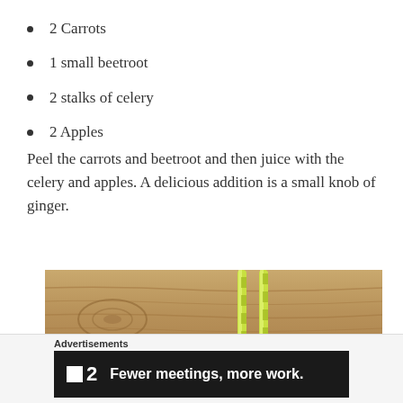2 Carrots
1 small beetroot
2 stalks of celery
2 Apples
Peel the carrots and beetroot and then juice with the celery and apples. A delicious addition is a small knob of ginger.
[Figure (photo): Photo of green striped paper straws on a wooden table background, partially cropped]
Advertisements
[Figure (screenshot): Advertisement banner: dark background with Twist logo (white square + number 2) and text 'Fewer meetings, more work.']